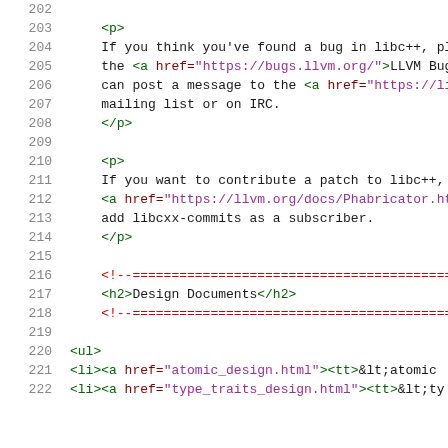Code listing showing HTML source lines 202-222 of a libc++ documentation file, including paragraph tags, links to LLVM bug tracker and mailing list, contribution instructions referencing Phabricator, h2 Design Documents heading with comment dividers, and ul/li list items with atomic_design.html and type_traits_design.html links.